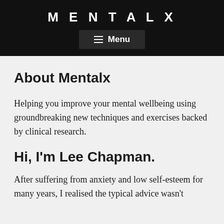MENTALX
Menu
About Mentalx
Helping you improve your mental wellbeing using groundbreaking new techniques and exercises backed by clinical research.
Hi, I'm Lee Chapman.
After suffering from anxiety and low self-esteem for many years, I realised the typical advice wasn't